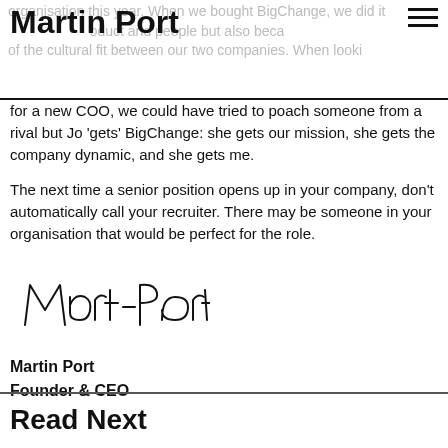Martin Port
for a new COO, we could have tried to poach someone from a rival but Jo 'gets' BigChange: she gets our mission, she gets the company dynamic, and she gets me.
The next time a senior position opens up in your company, don't automatically call your recruiter. There may be someone in your organisation that would be perfect for the role.
[Figure (illustration): Handwritten signature of Martin Port]
Martin Port
Founder & CEO
Read Next